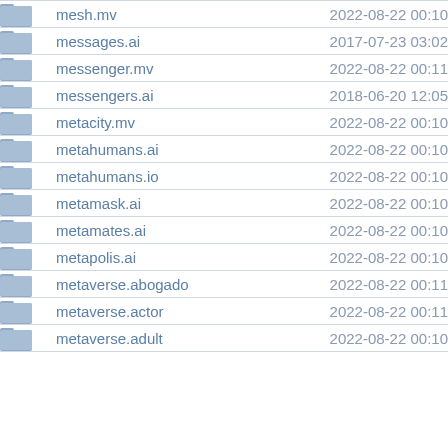|  | Name | Date |
| --- | --- | --- |
| folder | mesh.mv | 2022-08-22 00:10 |
| folder | messages.ai | 2017-07-23 03:02 |
| folder | messenger.mv | 2022-08-22 00:11 |
| folder | messengers.ai | 2018-06-20 12:05 |
| folder | metacity.mv | 2022-08-22 00:10 |
| folder | metahumans.ai | 2022-08-22 00:10 |
| folder | metahumans.io | 2022-08-22 00:10 |
| folder | metamask.ai | 2022-08-22 00:10 |
| folder | metamates.ai | 2022-08-22 00:10 |
| folder | metapolis.ai | 2022-08-22 00:10 |
| folder | metaverse.abogado | 2022-08-22 00:11 |
| folder | metaverse.actor | 2022-08-22 00:11 |
| folder | metaverse.adult | 2022-08-22 00:10 |